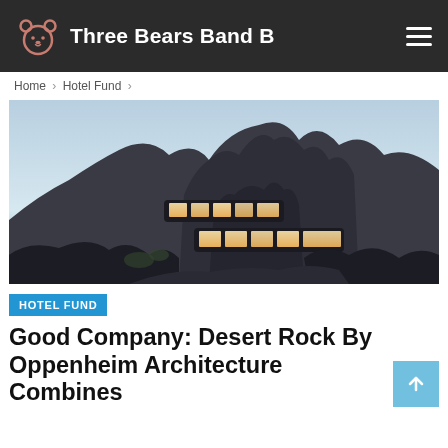Three Bears Band B
Home > Hotel Fund >
[Figure (photo): Architectural rendering of Desert Rock hotel by Oppenheim Architecture, built into a dramatic rocky mountain landscape at dusk, with glowing interior rooms visible through glass facades.]
HOTEL FUND
Good Company: Desert Rock By Oppenheim Architecture Combines Luxury And Sustainability